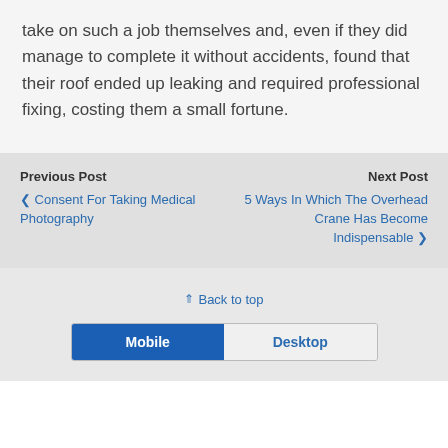take on such a job themselves and, even if they did manage to complete it without accidents, found that their roof ended up leaking and required professional fixing, costing them a small fortune.
Previous Post
‹ Consent For Taking Medical Photography
Next Post
5 Ways In Which The Overhead Crane Has Become Indispensable ›
⇑ Back to top
Mobile | Desktop